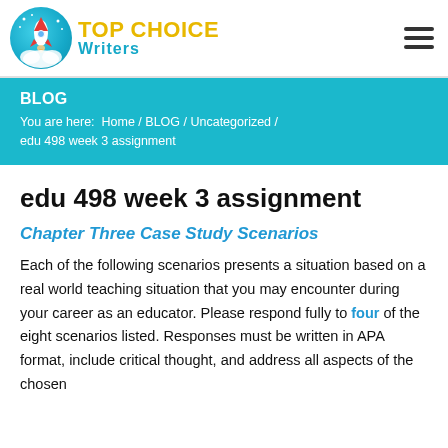[Figure (logo): Top Choice Writers logo with rocket icon in teal circle and yellow/teal text]
BLOG
You are here: Home / BLOG / Uncategorized / edu 498 week 3 assignment
edu 498 week 3 assignment
Chapter Three Case Study Scenarios
Each of the following scenarios presents a situation based on a real world teaching situation that you may encounter during your career as an educator. Please respond fully to four of the eight scenarios listed. Responses must be written in APA format, include critical thought, and address all aspects of the chosen